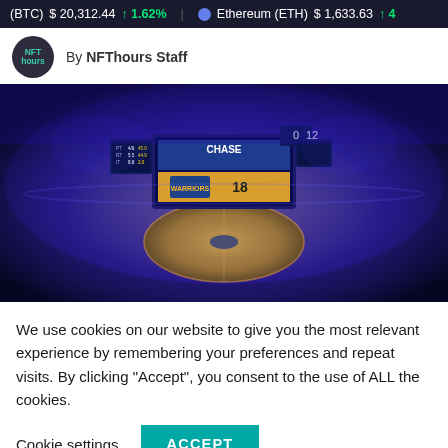(BTC) $20,312.44 ↑1.62% Ethereum (ETH) $1,633.63 ↑4...
By NFThours Staff
[Figure (photo): Aerial view of Chase Center arena (Golden State Warriors) filled with fans, with large scoreboard visible, taken from above showing the basketball court and crowd.]
We use cookies on our website to give you the most relevant experience by remembering your preferences and repeat visits. By clicking “Accept”, you consent to the use of ALL the cookies.
Cookie settings   ACCEPT